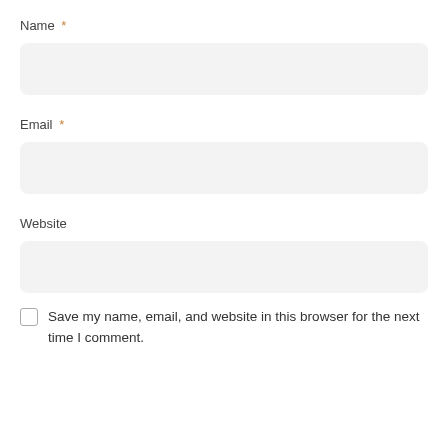Name *
[Figure (other): Empty text input field for Name]
Email *
[Figure (other): Empty text input field for Email]
Website
[Figure (other): Empty text input field for Website]
Save my name, email, and website in this browser for the next time I comment.